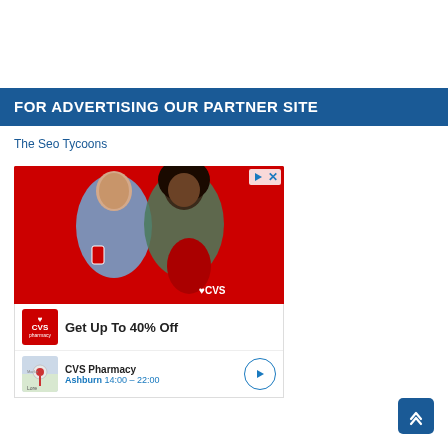FOR ADVERTISING OUR PARTNER SITE
The Seo Tycoons
[Figure (photo): CVS Pharmacy advertisement featuring two women posed against a red background, with CVS logo and 'Get Up To 40% Off' offer, plus a CVS Pharmacy location card for Ashburn showing hours 14:00-22:00]
Get Up To 40% Off
CVS Pharmacy
Ashburn 14:00 - 22:00